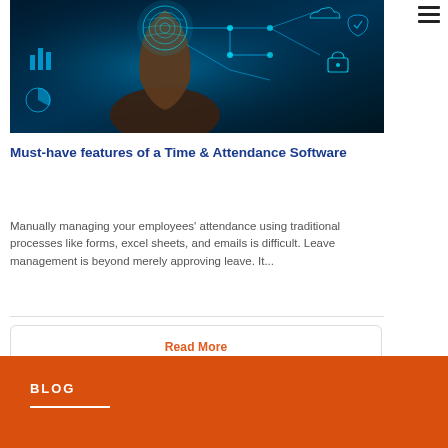[Figure (photo): A hand with a glowing fingerprint on the fingertip against a dark teal digital circuit background with security icons (lock, shield, cloud, charts) and connecting lines representing a digital/biometric interface.]
Must-have features of a Time & Attendance Software
Manually managing your employees' attendance using traditional processes like forms, excel sheets, and emails is difficult. Leave management is beyond merely approving leave. It...
Read More
BLOG